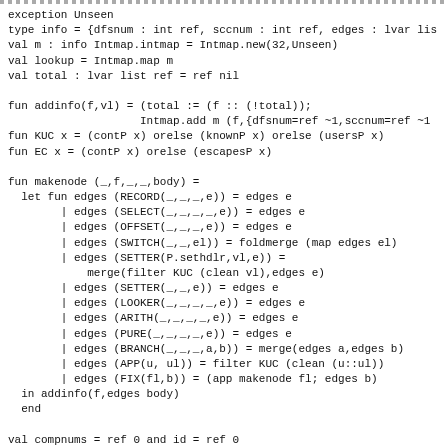exception Unseen
type info = {dfsnum : int ref, sccnum : int ref, edges : lvar lis
val m : info Intmap.intmap = Intmap.new(32,Unseen)
val lookup = Intmap.map m
val total : lvar list ref = ref nil

fun addinfo(f,vl) = (total := (f :: (!total));
                    Intmap.add m (f,{dfsnum=ref ~1,sccnum=ref ~1
fun KUC x = (contP x) orelse (knownP x) orelse (usersP x)
fun EC x = (contP x) orelse (escapesP x)

fun makenode (_,f,_,_,body) =
  let fun edges (RECORD(_,_,_,e)) = edges e
        | edges (SELECT(_,_,_,_,e)) = edges e
        | edges (OFFSET(_,_,_,e)) = edges e
        | edges (SWITCH(_,_,el)) = foldmerge (map edges el)
        | edges (SETTER(P.sethdlr,vl,e)) =
            merge(filter KUC (clean vl),edges e)
        | edges (SETTER(_,_,e)) = edges e
        | edges (LOOKER(_,_,_,_,e)) = edges e
        | edges (ARITH(_,_,_,_,e)) = edges e
        | edges (PURE(_,_,_,_,e)) = edges e
        | edges (BRANCH(_,_,_,a,b)) = merge(edges a,edges b)
        | edges (APP(u, ul)) = filter KUC (clean (u::ul))
        | edges (FIX(fl,b)) = (app makenode fl; edges b)
  in addinfo(f,edges body)
  end

val compnums = ref 0 and id = ref 0
val stack : (int * int ref) list ref = ref nil
fun scc nodenum =
  let fun newcomp(c,(n,sccnum)::rest) =
          (sccnum := c;
            if n=nodenum then rest else newcomp(c,rest))
        | newcomp _ = error "newcomp in freeclose in the closure

        val info as {dfsnum as ref d, sccnum, edges} = lookup node